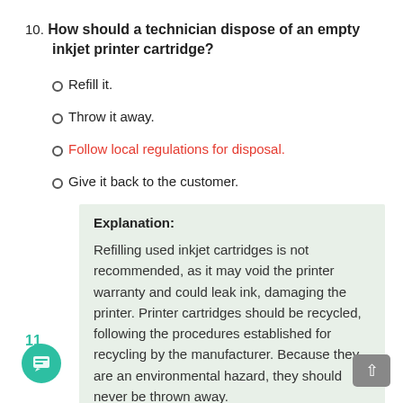10. How should a technician dispose of an empty inkjet printer cartridge?
Refill it.
Throw it away.
Follow local regulations for disposal.
Give it back to the customer.
Explanation: Refilling used inkjet cartridges is not recommended, as it may void the printer warranty and could leak ink, damaging the printer. Printer cartridges should be recycled, following the procedures established for recycling by the manufacturer. Because they are an environmental hazard, they should never be thrown away.
11